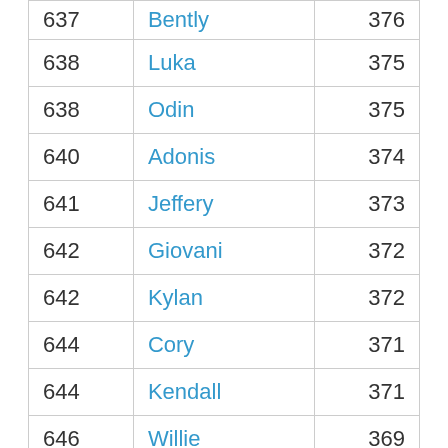| 637 | Bently | 376 |
| 638 | Luka | 375 |
| 638 | Odin | 375 |
| 640 | Adonis | 374 |
| 641 | Jeffery | 373 |
| 642 | Giovani | 372 |
| 642 | Kylan | 372 |
| 644 | Cory | 371 |
| 644 | Kendall | 371 |
| 646 | Willie | 369 |
| 647 | Davion | 368 |
| 647 | ... | ... |